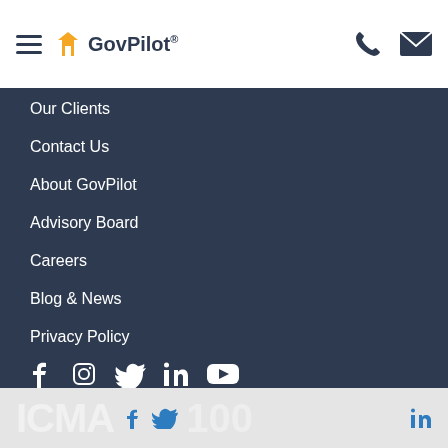GovPilot®
Our Clients
Contact Us
About GovPilot
Advisory Board
Careers
Blog & News
Privacy Policy
[Figure (other): Social media icons: Facebook, Instagram, Twitter, LinkedIn, YouTube]
ICMA 100 social icons footer bar